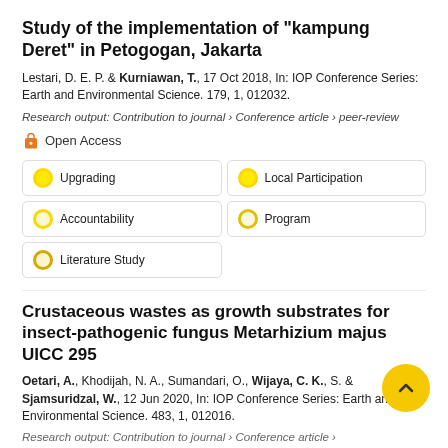Study of the implementation of "kampung Deret" in Petogogan, Jakarta
Lestari, D. E. P. & Kurniawan, T., 17 Oct 2018, In: IOP Conference Series: Earth and Environmental Science. 179, 1, 012032.
Research output: Contribution to journal › Conference article › peer-review
Open Access
Upgrading
Local Participation
Accountability
Program
Literature Study
Crustaceous wastes as growth substrates for insect-pathogenic fungus Metarhizium majus UICC 295
Oetari, A., Khodijah, N. A., Sumandari, O., Wijaya, C. K., S. & Sjamsuridzal, W., 12 Jun 2020, In: IOP Conference Series: Earth and Environmental Science. 483, 1, 012016.
Research output: Contribution to journal › Conference article ›